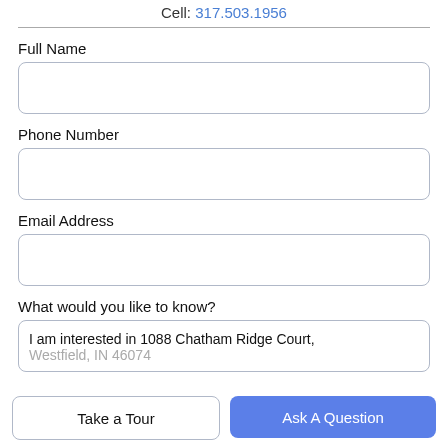Cell: 317.503.1956
Full Name
Phone Number
Email Address
What would you like to know?
I am interested in 1088 Chatham Ridge Court, Westfield, IN 46074
Take a Tour
Ask A Question